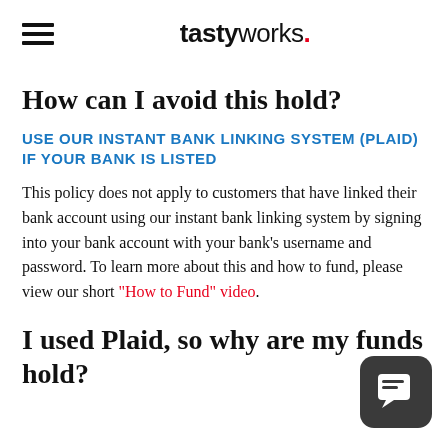tastyworks.
How can I avoid this hold?
USE OUR INSTANT BANK LINKING SYSTEM (PLAID) IF YOUR BANK IS LISTED
This policy does not apply to customers that have linked their bank account using our instant bank linking system by signing into your bank account with your bank's username and password. To learn more about this and how to fund, please view our short "How to Fund" video.
I used Plaid, so why are my funds on hold?